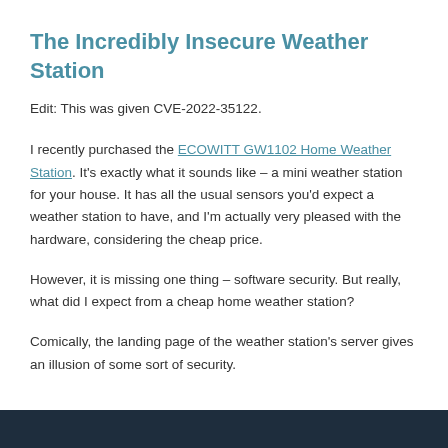The Incredibly Insecure Weather Station
Edit: This was given CVE-2022-35122.
I recently purchased the ECOWITT GW1102 Home Weather Station. It's exactly what it sounds like – a mini weather station for your house. It has all the usual sensors you'd expect a weather station to have, and I'm actually very pleased with the hardware, considering the cheap price.
However, it is missing one thing – software security. But really, what did I expect from a cheap home weather station?
Comically, the landing page of the weather station's server gives an illusion of some sort of security.
[Figure (other): Dark navy/teal bar at the bottom of the page, partial screenshot of weather station interface]